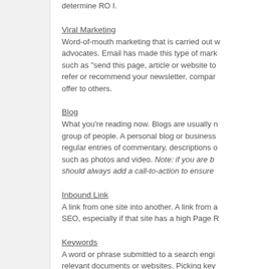determine ROI.
Viral Marketing
Word-of-mouth marketing that is carried out by advocates. Email has made this type of marketing such as "send this page, article or website to refer or recommend your newsletter, company or offer to others.
Blog
What you're reading now. Blogs are usually maintained by an individual or a group of people. A personal blog or business blog typically includes regular entries of commentary, descriptions of events, or other material such as photos and video. Note: if you are blogging for business, you should always add a call-to-action to ensure
Inbound Link
A link from one site into another. A link from a SEO, especially if that site has a high Page R
Keywords
A word or phrase submitted to a search engine relevant documents or websites. Picking key